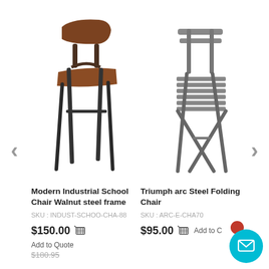[Figure (photo): Modern Industrial School Chair with walnut seat and steel frame legs, side view]
[Figure (photo): Triumph arc Steel Folding Chair in gray, folded side view]
Modern Industrial School Chair Walnut steel frame
SKU : INDUST-SCHOO-CHA-88
$150.00  Add to Quote
$180.95
Triumph arc Steel Folding Chair
SKU : ARC-E-CHA70
$95.00  Add to C